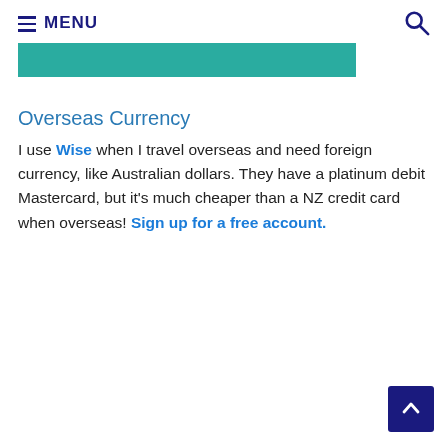MENU
[Figure (other): Teal/green horizontal banner bar]
Overseas Currency
I use Wise when I travel overseas and need foreign currency, like Australian dollars. They have a platinum debit Mastercard, but it's much cheaper than a NZ credit card when overseas! Sign up for a free account.